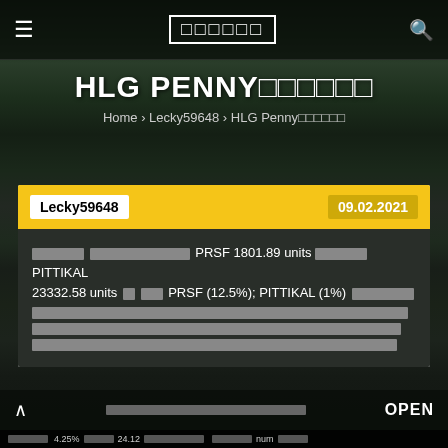≡  □□□□□□  🔍
HLG PENNY□□□□□□
Home › Lecky59648 › HLG Penny□□□□□□
Lecky59648   09.02.2021
□□□□□ □□□□□□□□□□□ PRSF 1801.89 units □□□□□□ PITTIKAL 23332.58 units□ □□PRSF (12.5%); PITTIKAL (1%) □□□□□□□ □□□□□□□□□□□□□□□□□□□□□□□□□ □□□ □□ 11□□□□□□□1□□□□ □□□□: □ □□□□□□□□□□□□□□□□□□□□□□□□□□□□□□□□□□□□□□□□□□□□□□□□ □□□□□□□□□□□□□□□□□□□□□□□□□□□□□□□□□□□□□□□□□□□□□□□□□□